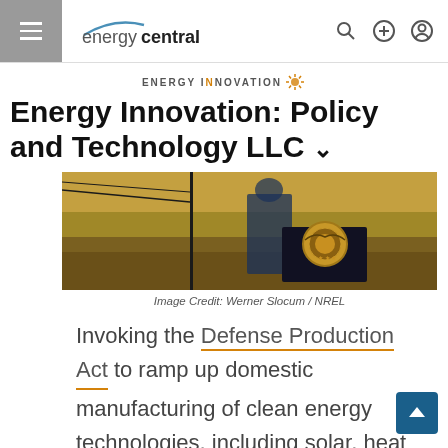energycentral.
ENERGY INNOVATION
Energy Innovation: Policy and Technology LLC ∨
[Figure (photo): Person at a presidential podium outdoors in a field, with the presidential seal visible. Photo credit: Werner Slocum / NREL]
Image Credit: Werner Slocum / NREL
Invoking the Defense Production Act to ramp up domestic manufacturing of clean energy technologies, including solar, heat pumps, and electrolyzers, supports